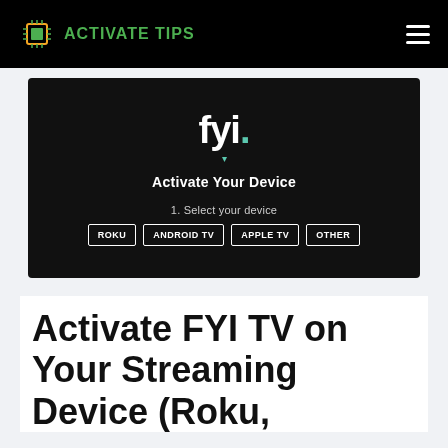ACTIVATE TIPS
[Figure (screenshot): FYI TV channel activation page screenshot showing 'fyi.' logo, 'Activate Your Device' heading, '1. Select your device' with four buttons: ROKU, ANDROID TV, APPLE TV, OTHER]
Activate FYI TV on Your Streaming Device (Roku,